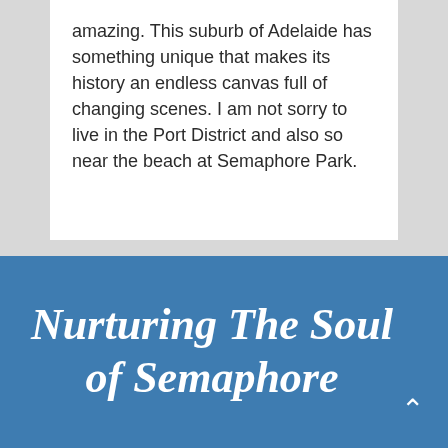amazing. This suburb of Adelaide has something unique that makes its history an endless canvas full of changing scenes. I am not sorry to live in the Port District and also so near the beach at Semaphore Park.
Nurturing The Soul of Semaphore